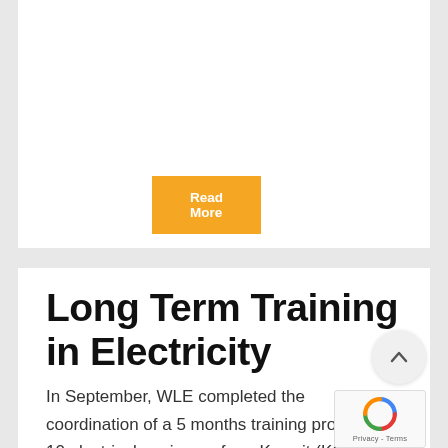[Figure (other): Orange 'Read More' button on white card background]
Long Term Training in Electricity
In September, WLE completed the coordination of a 5 months training program for 10 electrical engineers from Kuwait (KOC) This